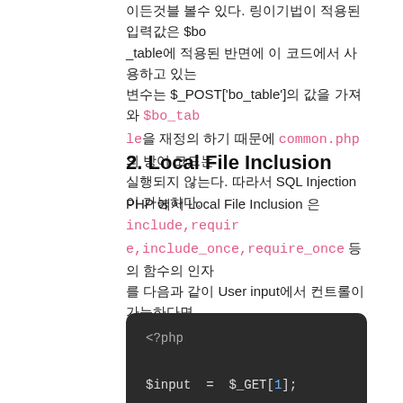이든것블 볼수 있다. 링이기법이 적용된 입력값은 $bo_table에 적용된 반면에 이 코드에서 사용하고 있는 변수는 $_POST['bo_table']의 값을 가져와 $bo_table을 재정의 하기 때문에 common.php의 방어 코드는 실행되지 않는다. 따라서 SQL Injection이 가능하다.
2. Local File Inclusion
PHP 에서 Local File Inclusion 은 include,require,include_once,require_once 등의 함수의 인자를 다음과 같이 User input에서 컨트롤이 가능하다면 발생하는 취약점이다.
[Figure (screenshot): PHP code snippet showing Local File Inclusion vulnerability: <?php $input = $_GET[1]; include $input; ?>]